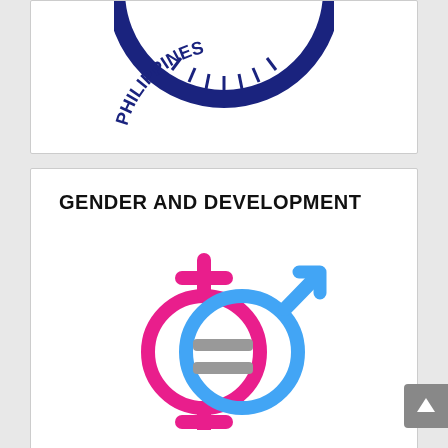[Figure (logo): Partial Philippine government seal/logo, top portion visible — blue circular seal with text PHILIPPIN... visible]
GENDER AND DEVELOPMENT
[Figure (illustration): Gender equality symbol combining female (pink, with cross on top) and male (blue, with arrow) symbols overlapping, with equal sign inside the circle]
[Figure (logo): Find us on Facebook banner with blue Facebook icon and text 'Find us on Facebook']